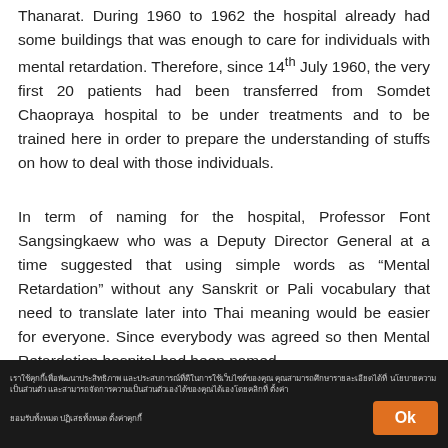Thanarat. During 1960 to 1962 the hospital already had some buildings that was enough to care for individuals with mental retardation. Therefore, since 14th July 1960, the very first 20 patients had been transferred from Somdet Chaopraya hospital to be under treatments and to be trained here in order to prepare the understanding of stuffs on how to deal with those individuals.
In term of naming for the hospital, Professor Font Sangsingkaew who was a Deputy Director General at a time suggested that using simple words as “Mental Retardation” without any Sanskrit or Pali vocabulary that need to translate later into Thai meaning would be easier for everyone. Since everybody was agreed so then Mental Retardation hospital had been named.
[Thai text cookie/privacy notice] Ok